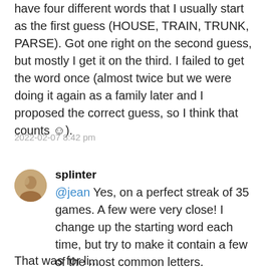have four different words that I usually start as the first guess (HOUSE, TRAIN, TRUNK, PARSE). Got one right on the second guess, but mostly I get it on the third. I failed to get the word once (almost twice but we were doing it again as a family later and I proposed the correct guess, so I think that counts ☺).
2022-02-07 8:42 pm
splinter
@jean Yes, on a perfect streak of 35 games. A few were very close! I change up the starting word each time, but try to make it contain a few of the most common letters.
That was for li...